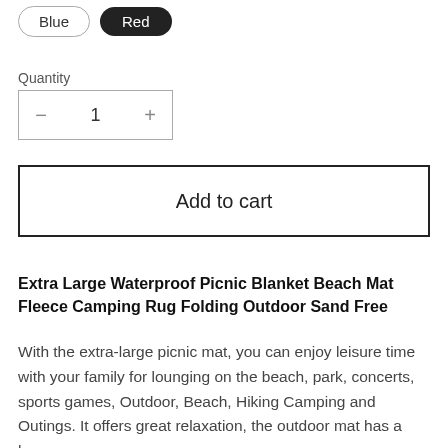[Figure (other): Color selection buttons: Blue (outlined pill) and Red (filled black pill)]
Quantity
[Figure (other): Quantity selector box with minus button, number 1, and plus button]
Add to cart
Extra Large Waterproof Picnic Blanket Beach Mat Fleece Camping Rug Folding Outdoor Sand Free
With the extra-large picnic mat, you can enjoy leisure time with your family for lounging on the beach, park, concerts, sports games, Outdoor, Beach, Hiking Camping and Outings. It offers great relaxation, the outdoor mat has a large